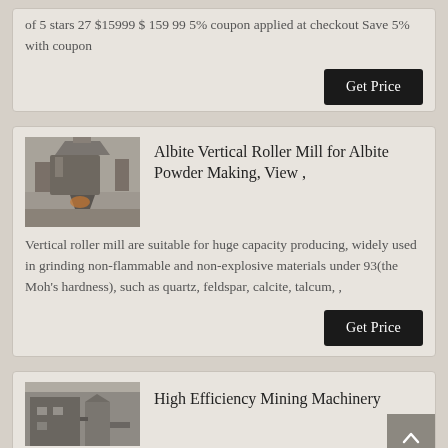of 5 stars 27 $15999 $ 159 99 5% coupon applied at checkout Save 5% with coupon
Get Price
[Figure (photo): Thumbnail photo of a vertical roller mill machine, industrial equipment]
Albite Vertical Roller Mill for Albite Powder Making, View ,
Vertical roller mill are suitable for huge capacity producing, widely used in grinding non-flammable and non-explosive materials under 93(the Moh's hardness), such as quartz, feldspar, calcite, talcum, ,
Get Price
[Figure (photo): Thumbnail photo of high efficiency mining machinery equipment]
High Efficiency Mining Machinery